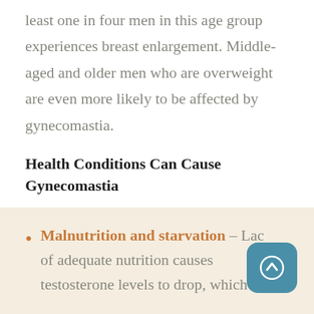least one in four men in this age group experiences breast enlargement. Middle-aged and older men who are overweight are even more likely to be affected by gynecomastia.
Health Conditions Can Cause Gynecomastia
There are several health conditions that affect hormone levels and cause enlarged breasts in men. Some of these conditions include:
Malnutrition and starvation – Lack of adequate nutrition causes testosterone levels to drop, which